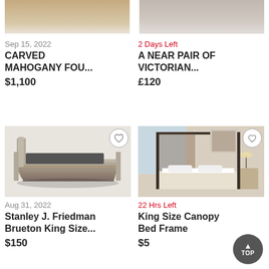[Figure (photo): Cropped top portion of carved mahogany four-poster bed listing image]
Sep 15, 2022
CARVED MAHOGANY FOU...
$1,100
[Figure (photo): Cropped top portion of Victorian near-pair listing image]
2 Days Left
A NEAR PAIR OF VICTORIAN...
£120
[Figure (photo): Stanley J. Friedman Brueton King Size bed frame, grey weathered wood platform bed]
Aug 31, 2022
Stanley J. Friedman Brueton King Size...
$150
[Figure (photo): King Size Canopy Bed Frame with dark metal four-poster in bedroom setting]
22 Hrs Left
King Size Canopy Bed Frame
$5
Feedback
TOP